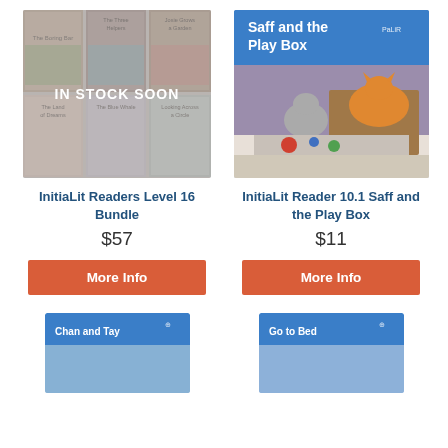[Figure (photo): InitiaLit Readers Level 16 Bundle - a grid of 6 book covers with an 'IN STOCK SOON' overlay]
InitiaLit Readers Level 16 Bundle
$57
More Info
[Figure (photo): InitiaLit Reader 10.1 Saff and the Play Box - blue cover with a cat and toys illustration]
InitiaLit Reader 10.1 Saff and the Play Box
$11
More Info
[Figure (photo): Partial book cover - Chan and Tay (blue cover, partially visible)]
[Figure (photo): Partial book cover - Go to Bed (blue cover, partially visible)]